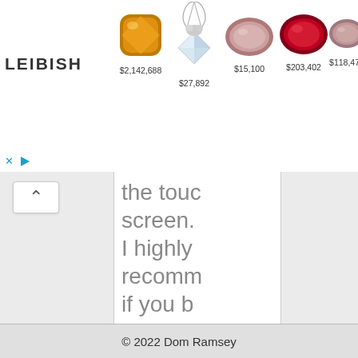[Figure (screenshot): Leibish jewelry advertisement banner showing logo and 5 gemstone items with prices: $2,142,688 (orange cushion cut), $27,892 (diamond pendant), $15,100 (pink oval), $203,402 (ruby oval), $118,472 (pink diamond)]
the touc screen. I highly recomm if you b this pho to obtai scratch protecti film for
© 2022 Dom Ramsey